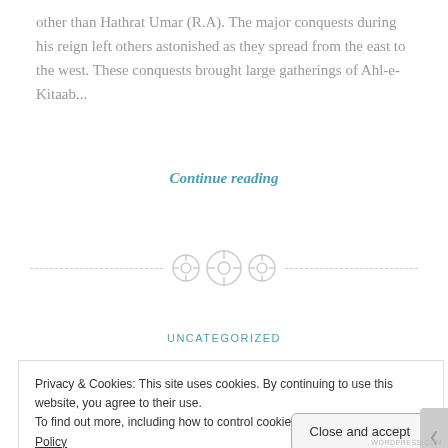other than Hathrat Umar (R.A). The major conquests during his reign left others astonished as they spread from the east to the west. These conquests brought large gatherings of Ahl-e-Kitaab...
Continue reading
[Figure (illustration): Decorative divider with three circular button-like icons centered on a dashed horizontal line]
UNCATEGORIZED
Privacy & Cookies: This site uses cookies. By continuing to use this website, you agree to their use.
To find out more, including how to control cookies, see here: Cookie Policy
Close and accept